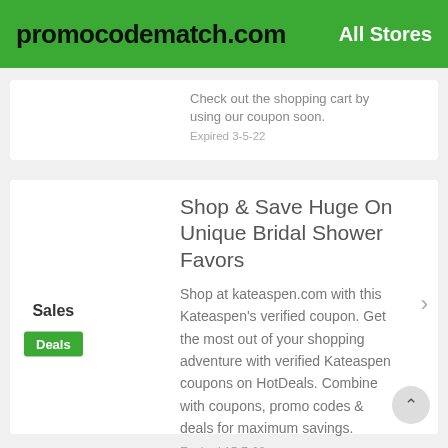promocodematch.com   All Stores
Check out the shopping cart by using our coupon soon.
Expired 3-5-22
Shop & Save Huge On Unique Bridal Shower Favors
Sales
Deals
Shop at kateaspen.com with this Kateaspen's verified coupon. Get the most out of your shopping adventure with verified Kateaspen coupons on HotDeals. Combine with coupons, promo codes & deals for maximum savings.
Expired 15-7-22